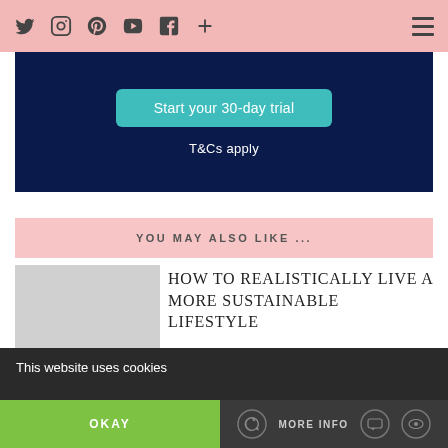Social icons: Twitter, Instagram, Pinterest, YouTube, Facebook, Plus | Hamburger menu
[Figure (screenshot): Dark navy blue banner with a teal 'Start your 30-day trial' button and 'T&Cs apply' text below]
YOU MAY ALSO LIKE ...
[Figure (photo): Thumbnail image placeholder for sustainable lifestyle article]
HOW TO REALISTICALLY LIVE A MORE SUSTAINABLE LIFESTYLE
[Figure (photo): Thumbnail image placeholder for bedroom ambience article]
HOW TO GIVE YOUR BEDROOM A SOFT AMBIENCE
This website uses cookies | OKAY | MORE INFO